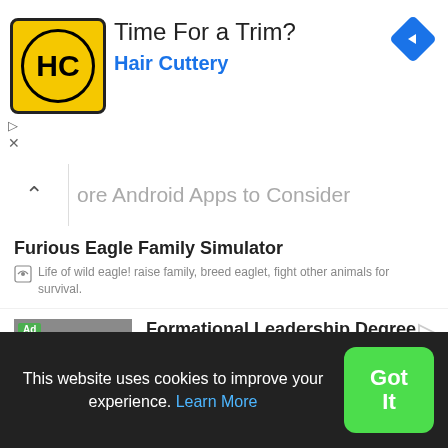[Figure (screenshot): Hair Cuttery ad banner with logo, 'Time For a Trim?' headline, and navigation icon]
More Android Apps to Consider
Furious Eagle Family Simulator
Life of wild eagle! raise family, breed eaglet, fight other animals for survival.
[Figure (screenshot): Ad for Formational Leadership Degree by Lancaster Bible College with photo of speaker]
[Figure (screenshot): Elephant Simulator: Wild Animal Family Games app thumbnail with broken image placeholder]
Elephant Simulator: Wild Animal Family Games
This website uses cookies to improve your experience. Learn More
Got It